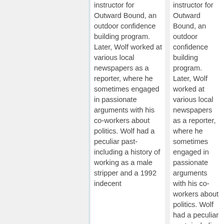instructor for Outward Bound, an outdoor confidence building program. Later, Wolf worked at various local newspapers as a reporter, where he sometimes engaged in passionate arguments with his co-workers about politics. Wolf had a peculiar past- including a history of working as a male stripper and a 1992 indecent
instructor for Outward Bound, an outdoor confidence building program. Later, Wolf worked at various local newspapers as a reporter, where he sometimes engaged in passionate arguments with his co-workers about politics. Wolf had a peculiar past- including a history of working as a male stripper and a 1992 indecent